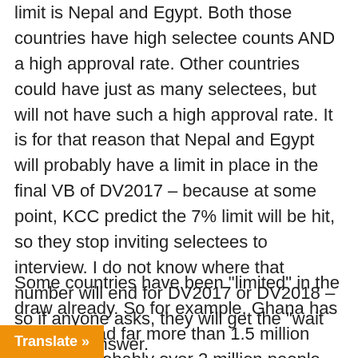limit is Nepal and Egypt. Both those countries have high selectee counts AND a high approval rate. Other countries could have just as many selectees, but will not have such a high approval rate. It is for that reason that Nepal and Egypt will probably have a limit in place in the final VB of DV2017 – because at some point, KCC predict the 7% limit will be hit, so they stop inviting selectees to interview. I do not know where that number will end for DV2017 or DV2018 – so if anyone asks, they will get the "wait and see" answer.
Some countries have been "limited" in the draw already. So for example, Ghana has probably had far more than 1.5 million entries – probably over 2 million people including family members. However we can see they "only" received 3549 selectees (where they should have had around 10,000 other countries show the same effect
Translate »